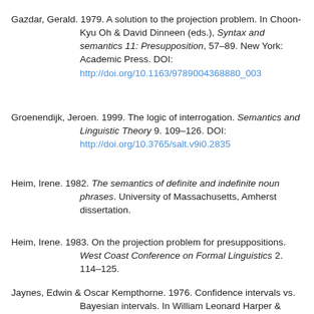Gazdar, Gerald. 1979. A solution to the projection problem. In Choon-Kyu Oh & David Dinneen (eds.), Syntax and semantics 11: Presupposition, 57–89. New York: Academic Press. DOI: http://doi.org/10.1163/9789004368880_003
Groenendijk, Jeroen. 1999. The logic of interrogation. Semantics and Linguistic Theory 9. 109–126. DOI: http://doi.org/10.3765/salt.v9i0.2835
Heim, Irene. 1982. The semantics of definite and indefinite noun phrases. University of Massachusetts, Amherst dissertation.
Heim, Irene. 1983. On the projection problem for presuppositions. West Coast Conference on Formal Linguistics 2. 114–125.
Jaynes, Edwin & Oscar Kempthorne. 1976. Confidence intervals vs. Bayesian intervals. In William Leonard Harper & Clifford Alan Hooker (eds.), Foundations of probability theory, statistical inference, and statistical